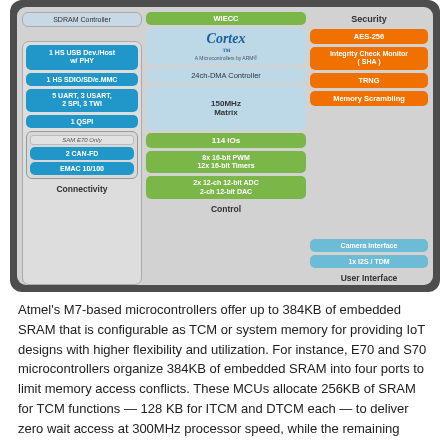[Figure (schematic): Block diagram of Atmel SAM microcontroller showing Connectivity (HS USB Dev/Host w/ PHY, HS SDIO/SD/e.MMC, 5 UART 3 USART 2 SPI 3 TWI, 1 QSPI, SAM E70 Only: 2 CAN-FD, EMAC 10/100), Control (SDRAM Controller, Cortex with WiECC, 24ch-DMA Controller, 150MHz Matrix, 114 IOs, 8x 16-bit PWM 12x 16-bit Timers, 2x 12-ch 12-bit ADC 2-ch 12-bit DAC), and User Interface / Security (Security: AES-256, Integrity Check Monitor (SHA), TRNG, Memory Scrambling; User Interface: Camera Interface, 1x I2S / TDM) sections.]
Atmel's M7-based microcontrollers offer up to 384KB of embedded SRAM that is configurable as TCM or system memory for providing IoT designs with higher flexibility and utilization. For instance, E70 and S70 microcontrollers organize 384KB of embedded SRAM into four ports to limit memory access conflicts. These MCUs allocate 256KB of SRAM for TCM functions — 128 KB for ITCM and DTCM each — to deliver zero wait access at 300MHz processor speed, while the remaining